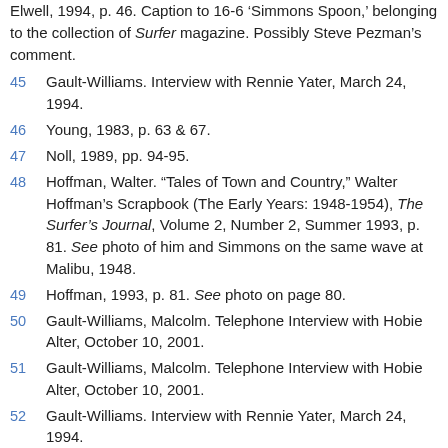Elwell, 1994, p. 46. Caption to 16-6 'Simmons Spoon,' belonging to the collection of Surfer magazine. Possibly Steve Pezman's comment.
45  Gault-Williams. Interview with Rennie Yater, March 24, 1994.
46  Young, 1983, p. 63 & 67.
47  Noll, 1989, pp. 94-95.
48  Hoffman, Walter. "Tales of Town and Country," Walter Hoffman's Scrapbook (The Early Years: 1948-1954), The Surfer's Journal, Volume 2, Number 2, Summer 1993, p. 81. See photo of him and Simmons on the same wave at Malibu, 1948.
49  Hoffman, 1993, p. 81. See photo on page 80.
50  Gault-Williams, Malcolm. Telephone Interview with Hobie Alter, October 10, 2001.
51  Gault-Williams, Malcolm. Telephone Interview with Hobie Alter, October 10, 2001.
52  Gault-Williams. Interview with Rennie Yater, March 24, 1994.
53  See Gault-Williams, Golden Age of Malibu.
54  Elwell, 1994, p. 45.